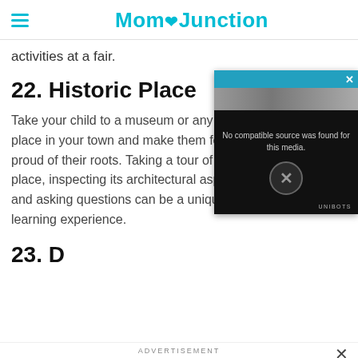MomJunction
activities at a fair.
22. Historic Place
Take your child to a museum or any historic place in your town and make them feel proud of their roots. Taking a tour of such a place, inspecting its architectural aspects, and asking questions can be a unique learning experience.
[Figure (screenshot): Video player overlay showing 'No compatible source was found for this media.' with an X button and UNIBOTS branding]
ADVERTISEMENT